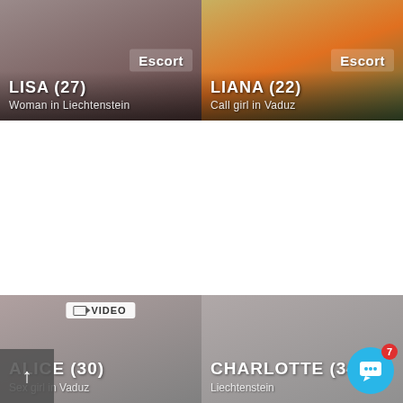[Figure (photo): Photo card of Lisa (27), Woman in Liechtenstein, with Escort badge]
[Figure (photo): Photo card of Liana (22), Call girl in Vaduz, with Escort badge]
[Figure (photo): Photo card of Alice (30), Sex girl in Vaduz, with VIDEO badge]
[Figure (photo): Photo card of Charlotte (34), Liechtenstein]